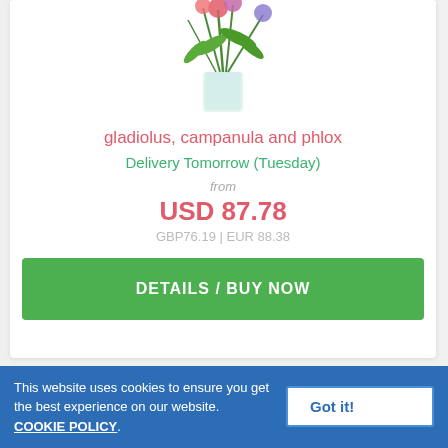[Figure (photo): Photo of gladiolus, campanula and phlox flowers in a glass vase, partially shown from top]
gladiolus, campanula and phlox
Delivery Tomorrow (Tuesday)
from
USD 87.78
GBP76.19 | EUR 88.38
DETAILS / BUY NOW
This website uses cookies to ensure you get the best experience on our website. COOKIE POLICY.
Got it!